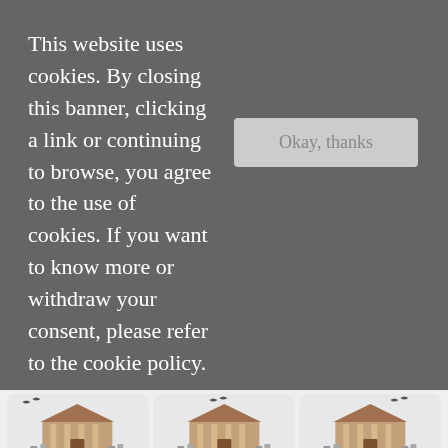This website uses cookies. By closing this banner, clicking a link or continuing to browse, you agree to the use of cookies. If you want to know more or withdraw your consent, please refer to the cookie policy.
Okay, thanks
[Figure (illustration): Haunted house with bats illustration for card 17]
visit link
17. Get to Know the Sci-Fi Reader Tag
[Figure (illustration): Haunted house with bats illustration for card 18]
visit link
18. My Favourite Sci-Fi Subgenres
[Figure (illustration): Haunted house with bats illustration for card 19]
visit link
19. Classic Sci-Fi on My TBR
[Figure (illustration): Paper Procrastinators - blue background with computer and books illustration]
visit link
[Figure (illustration): Relax with a Good Book - Reviews of Bestselling Books]
visit link
[Figure (illustration): Zombie Apocalypse Book Tag - teal background with zombie characters]
visit link